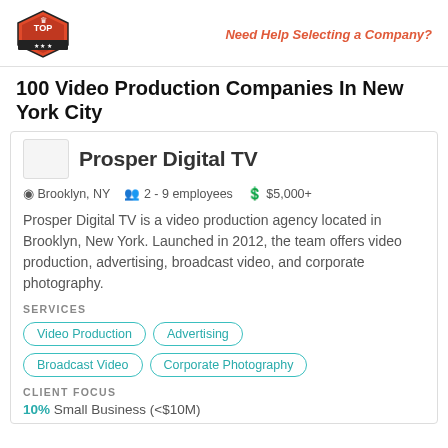[Figure (logo): Top Design Firms logo — red hexagon badge with crown icon]
Need Help Selecting a Company?
100 Video Production Companies In New York City
Prosper Digital TV
Brooklyn, NY   2 - 9 employees   $5,000+
Prosper Digital TV is a video production agency located in Brooklyn, New York. Launched in 2012, the team offers video production, advertising, broadcast video, and corporate photography.
SERVICES
Video Production
Advertising
Broadcast Video
Corporate Photography
CLIENT FOCUS
10% Small Business (<$10M)